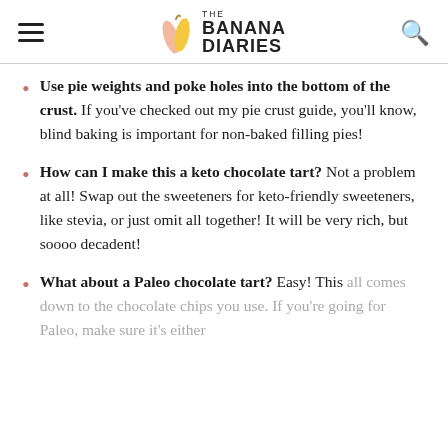THE BANANA DIARIES
Use pie weights and poke holes into the bottom of the crust. If you've checked out my pie crust guide, you'll know, blind baking is important for non-baked filling pies!
How can I make this a keto chocolate tart? Not a problem at all! Swap out the sweeteners for keto-friendly sweeteners, like stevia, or just omit all together! It will be very rich, but soooo decadent!
What about a Paleo chocolate tart? Easy! This all comes down to the chocolate chips you use. If you're going for Paleo, make sure it's either